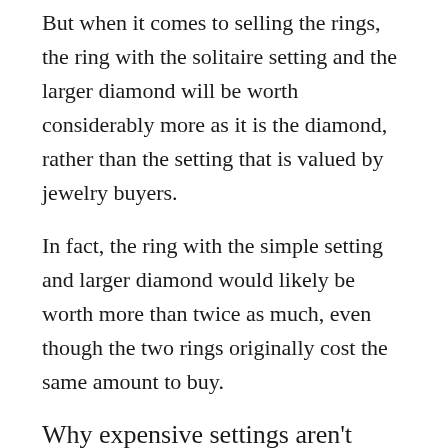But when it comes to selling the rings, the ring with the solitaire setting and the larger diamond will be worth considerably more as it is the diamond, rather than the setting that is valued by jewelry buyers.
In fact, the ring with the simple setting and larger diamond would likely be worth more than twice as much, even though the two rings originally cost the same amount to buy.
Why expensive settings aren't valuable
When buying an engagement ring, the cost of